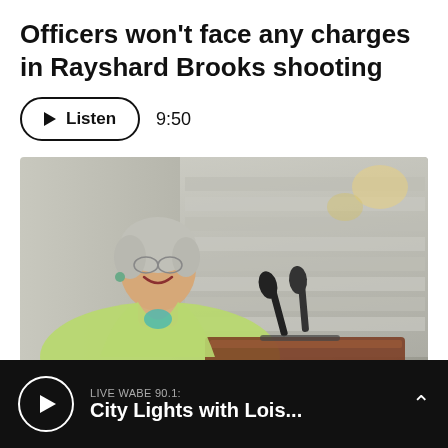Officers won't face any charges in Rayshard Brooks shooting
[Figure (other): A listen button with play icon, labeled 'Listen' with duration '9:50']
[Figure (photo): An older woman with short gray hair, wearing a light green blazer, smiling and standing at a podium with two microphones. Background shows marble stairs and chandeliers.]
LIVE WABE 90.1: City Lights with Lois...